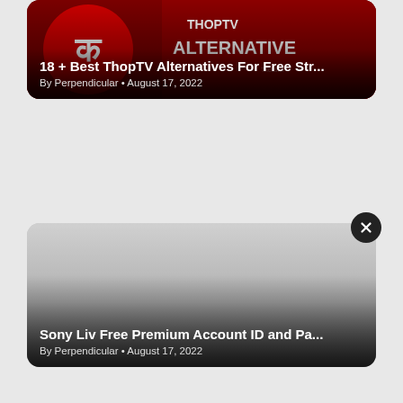[Figure (screenshot): Article card with dark red background showing ThopTV Alternative logo/image. Title: '18 + Best ThopTV Alternatives For Free Str...' By Perpendicular • August 17, 2022]
[Figure (screenshot): Article card with gray gradient background. Title: 'Sony Liv Free Premium Account ID and Pa...' By Perpendicular • August 17, 2022. Has a close/X button in top right corner.]